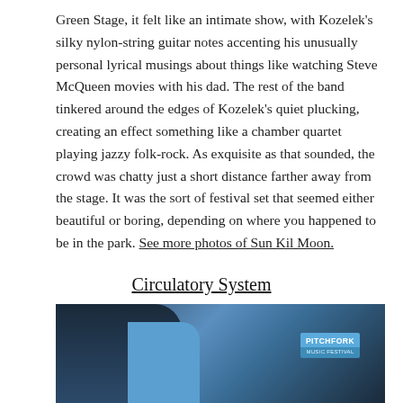Green Stage, it felt like an intimate show, with Kozelek's silky nylon-string guitar notes accenting his unusually personal lyrical musings about things like watching Steve McQueen movies with his dad. The rest of the band tinkered around the edges of Kozelek's quiet plucking, creating an effect something like a chamber quartet playing jazzy folk-rock. As exquisite as that sounded, the crowd was chatty just a short distance farther away from the stage. It was the sort of festival set that seemed either beautiful or boring, depending on where you happened to be in the park. See more photos of Sun Kil Moon.
Circulatory System
[Figure (photo): Partial photo showing a person in a blue shirt at what appears to be an event, with a Pitchfork Music Festival badge/lanyard visible in the upper right area of the image.]